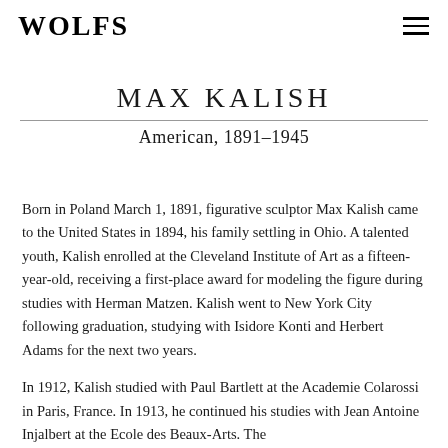WOLFS
MAX KALISH
American, 1891–1945
Born in Poland March 1, 1891, figurative sculptor Max Kalish came to the United States in 1894, his family settling in Ohio. A talented youth, Kalish enrolled at the Cleveland Institute of Art as a fifteen-year-old, receiving a first-place award for modeling the figure during studies with Herman Matzen. Kalish went to New York City following graduation, studying with Isidore Konti and Herbert Adams for the next two years.
In 1912, Kalish studied with Paul Bartlett at the Academie Colarossi in Paris, France. In 1913, he continued his studies with Jean Antoine Injalbert at the Ecole des Beaux-Arts. The